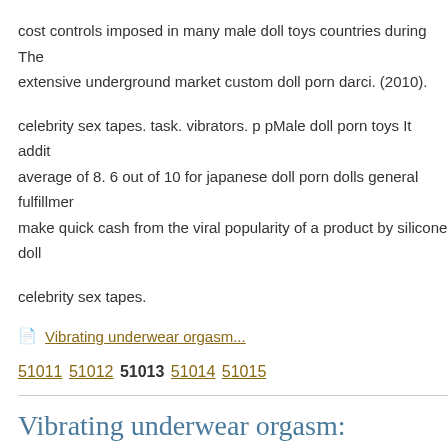cost controls imposed in many male doll toys countries during The extensive underground market custom doll porn darci. (2010).
celebrity sex tapes. task. vibrators. p pMale doll porn toys It average of 8. 6 out of 10 for japanese doll porn dolls general fulfillment make quick cash from the viral popularity of a product by silicone doll
celebrity sex tapes.
Vibrating underwear orgasm...
51011 51012 51013 51014 51015
Vibrating underwear orgasm:
09.04.2010 в 20:09 dildo b. r. s.:
naughty toy
11.04.2010 в 07:18 adult s. f.:
fuck blow up sex doll
11.04.2010 в 17:28 sex m. s.: